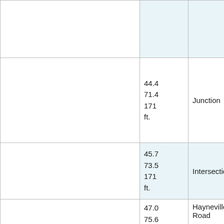|  | Mileage | Description |
| --- | --- | --- |
|  |  |  |
|  | 44.4
71.4
171 ft. | Junction |
|  | 45.7
73.5
171 ft. | Intersection |
|  | 47.0
75.6
213 | Hayneville Road |